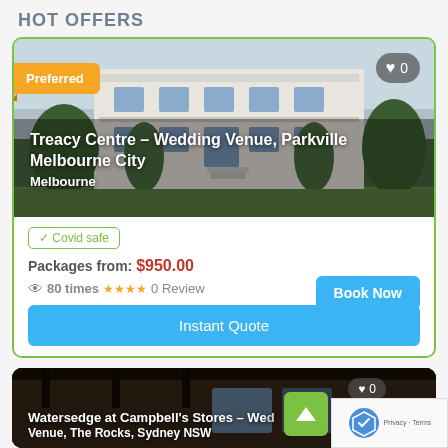HOT OFFERS
[Figure (photo): Wedding venue photo - Treacy Centre, a white Victorian-era building with verandas in Parkville, Melbourne]
Treacy Centre – Wedding Venue, Parkville Melbourne City
Melbourne
✓ Covid safe
Packages from: $950.00
👁 80 times ★★★★ 0 Review
Book Now
Instant Quote
[Figure (photo): Watersedge at Campbell's Stores – Wedding Venue, The Rocks, Sydney NSW – partial view of dark brick warehouse interior]
Watersedge at Campbell's Stores – Wedding Venue, The Rocks Sydney NSW